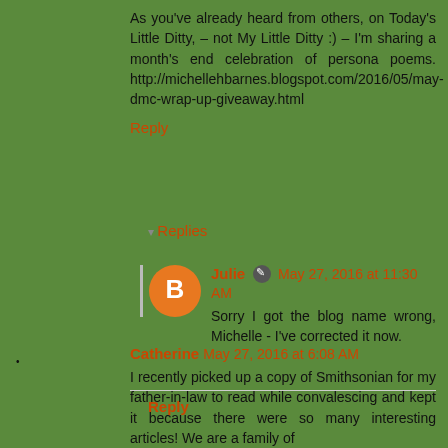As you've already heard from others, on Today's Little Ditty, – not My Little Ditty :) – I'm sharing a month's end celebration of persona poems. http://michellehbarnes.blogspot.com/2016/05/may-dmc-wrap-up-giveaway.html
Reply
Replies
Julie   May 27, 2016 at 11:30 AM
Sorry I got the blog name wrong, Michelle - I've corrected it now.
Reply
Catherine May 27, 2016 at 6:08 AM
I recently picked up a copy of Smithsonian for my father-in-law to read while convalescing and kept it because there were so many interesting articles! We are a family of